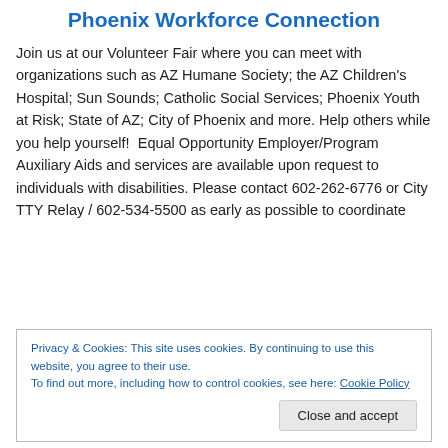Phoenix Workforce Connection
Join us at our Volunteer Fair where you can meet with organizations such as AZ Humane Society; the AZ Children's Hospital; Sun Sounds; Catholic Social Services; Phoenix Youth at Risk; State of AZ; City of Phoenix and more. Help others while you help yourself!  Equal Opportunity Employer/Program  Auxiliary Aids and services are available upon request to individuals with disabilities. Please contact 602-262-6776 or City TTY Relay / 602-534-5500 as early as possible to coordinate
Privacy & Cookies: This site uses cookies. By continuing to use this website, you agree to their use.
To find out more, including how to control cookies, see here: Cookie Policy